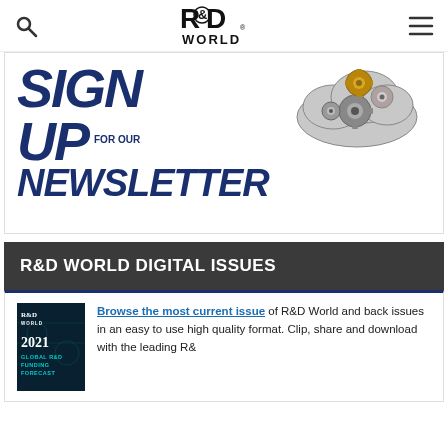R&D World
[Figure (logo): R&D World logo — bold R&D with ampersand in a circle, WORLD below]
[Figure (illustration): Sign up for our newsletter banner — large bold blue italic text SIGN UP FOR OUR NEWSLETTER with a gear cloud illustration]
R&D WORLD DIGITAL ISSUES
[Figure (photo): R&D World 2021 Global R&D Funding Forecast magazine cover thumbnail — dark teal background]
Browse the most current issue of R&D World and back issues in an easy to use high quality format. Clip, share and download with the leading R&